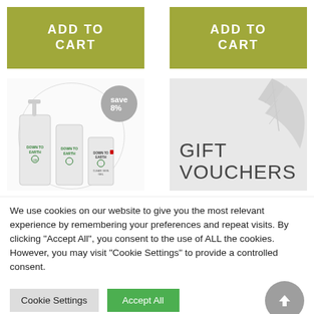[Figure (other): Two olive-green 'ADD TO CART' buttons side by side]
[Figure (other): Product image showing Down To Earth skincare bottles inside a circle with a 'save 8%' badge]
[Figure (other): Gift voucher promotional image with palm leaf background and 'GIFT VOUCHERS' text]
We use cookies on our website to give you the most relevant experience by remembering your preferences and repeat visits. By clicking "Accept All", you consent to the use of ALL the cookies. However, you may visit "Cookie Settings" to provide a controlled consent.
Cookie Settings
Accept All